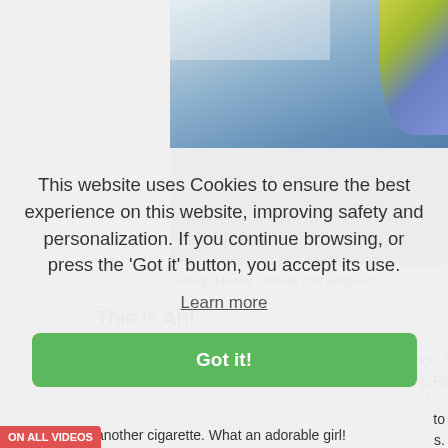[Figure (screenshot): Video thumbnail showing a blurred indoor scene with a circular avatar image partially visible at top right]
Rosy: Heavy smoker extravaganza
This Is Art!
by Smurf, 9 years ago. (5 stars rating)
In this video, Rosy provides another great performance. My favourite scene is the first one. In this scene, stunning Rosy
This website uses Cookies to ensure the best experience on this website, improving safety and personalization. If you continue browsing, or press the 'Got it' button, you accept its use.
Learn more
Got it!
another cigarette. What an adorable girl!
ON ALL VIDEOS